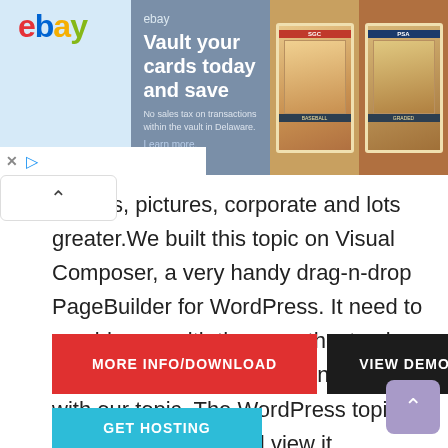[Figure (screenshot): eBay advertisement banner showing 'Vault your cards today and save' with baseball card images on the right side. Light blue background on left with eBay logo, dark gray/blue middle section with ad text, and card images on the far right.]
lancers, pictures, corporate and lots greater. We built this topic on Visual Composer, a very handy drag-n-drop PageBuilder for WordPress. It need to provide you with the smoothest enjoy whilst developing your internet site with our topic. The WordPress topic is responsive, you could view it additionally inside the mobile/pills devices and it seems very in greater gadgets.
MORE INFO/DOWNLOAD
VIEW DEMO
GET HOSTING